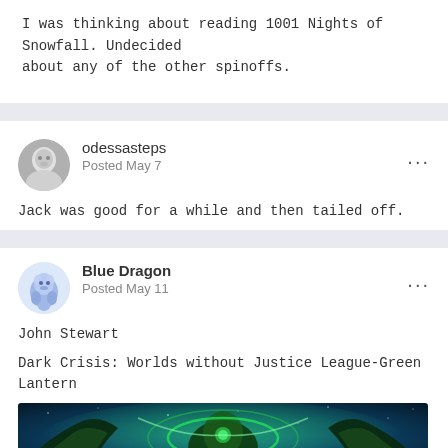I was thinking about reading 1001 Nights of Snowfall. Undecided about any of the other spinoffs.
odessasteps
Posted May 7
Jack was good for a while and then tailed off.
Blue Dragon
Posted May 11
John Stewart
Dark Crisis: Worlds without Justice League-Green Lantern
[Figure (illustration): Comic book cover image showing Green Lantern character in space with green energy effects against a blue/teal space background]